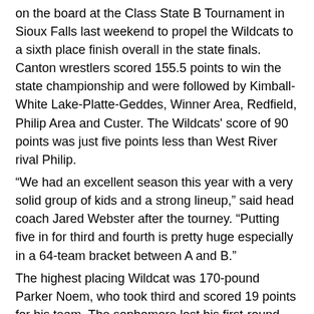on the board at the Class State B Tournament in Sioux Falls last weekend to propel the Wildcats to a sixth place finish overall in the state finals. Canton wrestlers scored 155.5 points to win the state championship and were followed by Kimball-White Lake-Platte-Geddes, Winner Area, Redfield, Philip Area and Custer. The Wildcats' score of 90 points was just five points less than West River rival Philip.
“We had an excellent season this year with a very solid group of kids and a strong lineup,” said head coach Jared Webster after the tourney. “Putting five in for third and fourth is pretty huge especially in a 64-team bracket between A and B.”
The highest placing Wildcat was 170-pound Parker Noem, who took third and scored 19 points for his team. The sophomore lost his first-round match to Levi Stover of Stanley County to go into the consolation bracket and went on to win his next four matches with three pins and an 8-1 decision. In the match for third he beat Lucas Kannegieter of Clark-Willow Lake in a 4-2 decision.
“He lost his first match and came all the way and won the rest of them,” noted Webster. “That’s a pretty tough thing to do.” Noem ends his sophomore season with a 41-9 win/loss record.